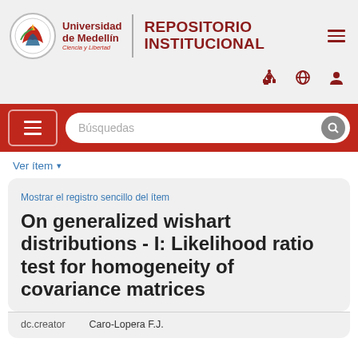Universidad de Medellín — Ciencia y Libertad | REPOSITORIO INSTITUCIONAL
Búsquedas
Ver ítem
Mostrar el registro sencillo del ítem
On generalized wishart distributions - I: Likelihood ratio test for homogeneity of covariance matrices
| dc.creator |  |
| --- | --- |
| dc.creator | Caro-Lopera F.J. |